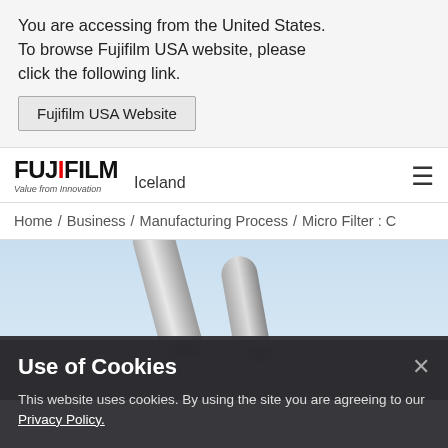You are accessing from the United States. To browse Fujifilm USA website, please click the following link.
Fujifilm USA Website
[Figure (logo): FUJIFILM Iceland logo with 'Value from Innovation' tagline and hamburger menu icon]
Home / Business / Manufacturing Process / Micro Filter : C
[Figure (photo): Macro photo of micro filter cylindrical tubes against a light blue background, with dark filter ends visible]
Use of Cookies
This website uses cookies. By using the site you are agreeing to our Privacy Policy.